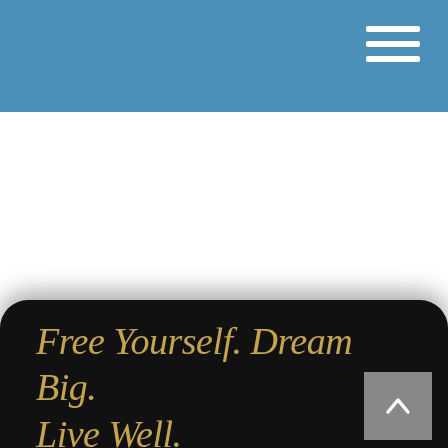[Figure (other): Hamburger menu icon — three horizontal white lines stacked in the top-right corner of a blue header bar]
Free Yourself. Dream Big. Live Well.